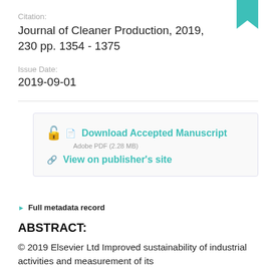Citation:
Journal of Cleaner Production, 2019, 230 pp. 1354 - 1375
Issue Date:
2019-09-01
Download Accepted Manuscript
Adobe PDF (2.28 MB)
View on publisher's site
Full metadata record
ABSTRACT:
© 2019 Elsevier Ltd Improved sustainability of industrial activities and measurement of its